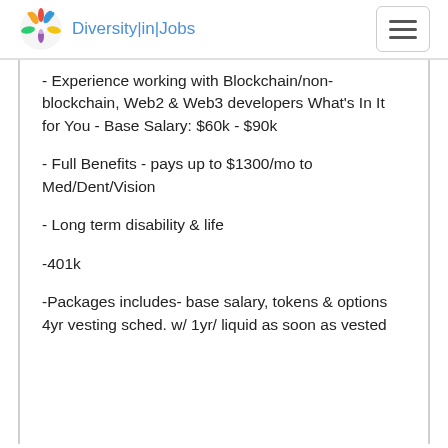Diversity|in|Jobs
- Experience working with Blockchain/non-blockchain, Web2 & Web3 developers What's In It for You - Base Salary: $60k - $90k
- Full Benefits - pays up to $1300/mo to Med/Dent/Vision
- Long term disability & life
-401k
-Packages includes- base salary, tokens & options 4yr vesting sched. w/ 1yr/ liquid as soon as vested